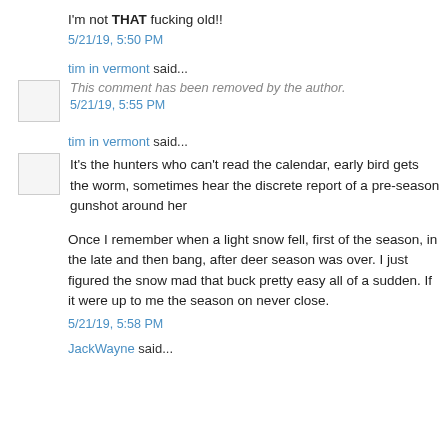I'm not THAT fucking old!!
5/21/19, 5:50 PM
tim in vermont said...
This comment has been removed by the author.
5/21/19, 5:55 PM
tim in vermont said...
It’s the hunters who can’t read the calendar, early bird gets the worm, sometimes hear the discrete report of a pre-season gunshot around her
Once I remember when a light snow fell, first of the season, in the late and then bang, after deer season was over. I just figured the snow mad that buck pretty easy all of a sudden. If it were up to me the season on never close.
5/21/19, 5:58 PM
JackWayne said...